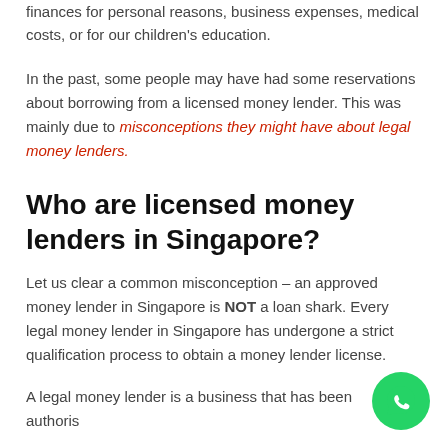finances for personal reasons, business expenses, medical costs, or for our children's education.
In the past, some people may have had some reservations about borrowing from a licensed money lender. This was mainly due to misconceptions they might have about legal money lenders.
Who are licensed money lenders in Singapore?
Let us clear a common misconception – an approved money lender in Singapore is NOT a loan shark. Every legal money lender in Singapore has undergone a strict qualification process to obtain a money lender license.
A legal money lender is a business that has been authorised…